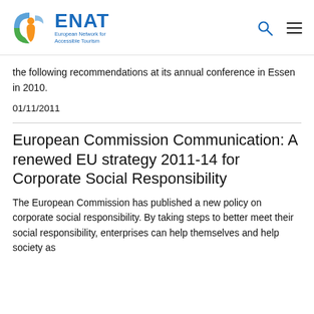ENAT – European Network for Accessible Tourism
the following recommendations at its annual conference in Essen in 2010.
01/11/2011
European Commission Communication: A renewed EU strategy 2011-14 for Corporate Social Responsibility
The European Commission has published a new policy on corporate social responsibility. By taking steps to better meet their social responsibility, enterprises can help themselves and help society as